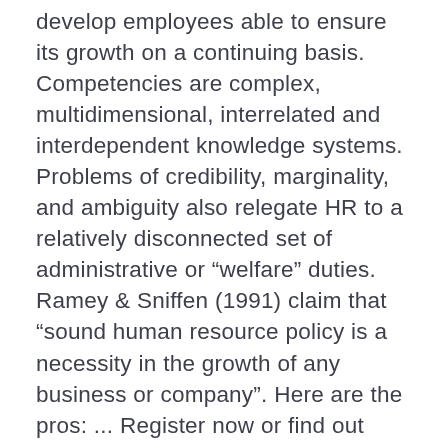develop employees able to ensure its growth on a continuing basis. Competencies are complex, multidimensional, interrelated and interdependent knowledge systems. Problems of credibility, marginality, and ambiguity also relegate HR to a relatively disconnected set of administrative or “welfare” duties. Ramey & Sniffen (1991) claim that “sound human resource policy is a necessity in the growth of any business or company”. Here are the pros: ... Register now or find out more about the new HR webinar, Engaging Employees with RESPECT: How to Boost Productivity, Quality, Innovation, and Retention. Microsoft’s Guide to Working From Home and Future Workplace. But, on